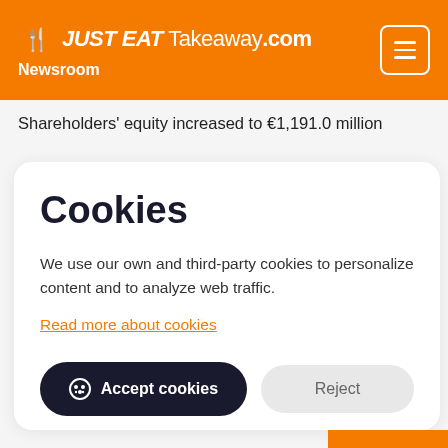JUST EAT Takeaway.com Newsroom
Shareholders' equity increased to €1,191.0 million
Cookies
We use our own and third-party cookies to personalize content and to analyze web traffic.
Read more about cookies
Accept cookies
Reject